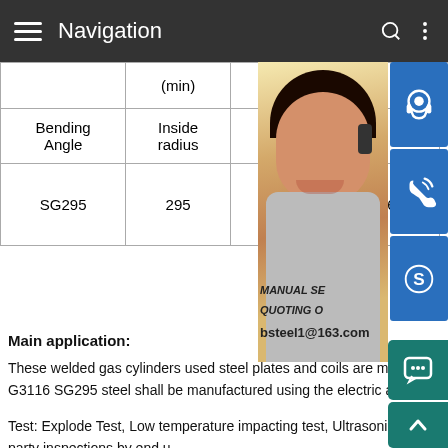Navigation
|  | (min) | Bending Angle | Inside radius | Test piece |  |
| --- | --- | --- | --- | --- | --- |
| SG295 | 295 | 400 | 26 | NO.5 in rolling direction |  |
Main application:
These welded gas cylinders used steel plates and coils are mainly for LPG cylinders buildings. JIS G3116 SG295 steel shall be manufactured using the electric arc process or an oxygen process.
Test: Explode Test, Low temperature impacting test, Ultrasonic examination, Normalized and Third party inspections by end u